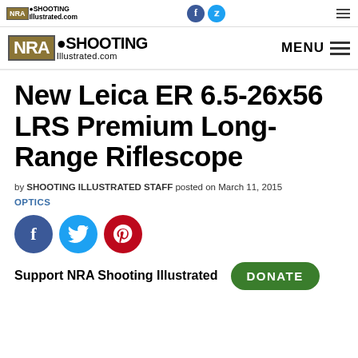NRA Shooting Illustrated.com — top navigation bar with social icons and menu
NRA Shooting Illustrated.com — MENU
New Leica ER 6.5-26x56 LRS Premium Long-Range Riflescope
by SHOOTING ILLUSTRATED STAFF posted on March 11, 2015 OPTICS
[Figure (other): Social share buttons: Facebook (blue circle), Twitter (light blue circle), Pinterest (red circle)]
Support NRA Shooting Illustrated  DONATE